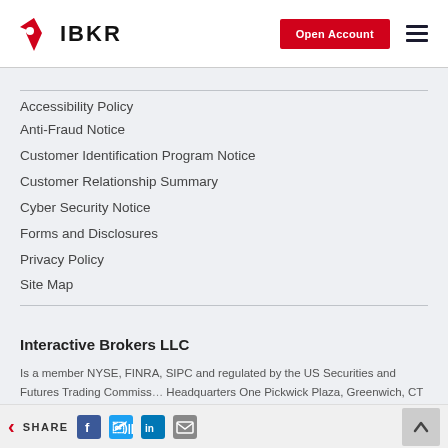IBKR — Open Account
Accessibility Policy
Anti-Fraud Notice
Customer Identification Program Notice
Customer Relationship Summary
Cyber Security Notice
Forms and Disclosures
Privacy Policy
Site Map
Interactive Brokers LLC
Is a member NYSE, FINRA, SIPC and regulated by the US Securities and Futures Trading Commission. Headquarters One Pickwick Plaza, Greenwich, CT 06830 USA
SHARE — social icons — back/forward navigation